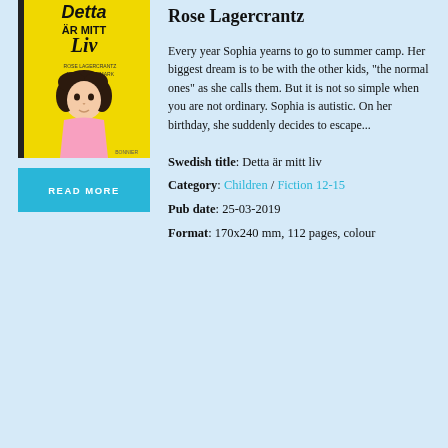[Figure (illustration): Book cover of 'Detta är mitt liv' by Rose Lagercrantz and Anneli Fornmark. Yellow background with a drawing of a girl with dark curly hair wearing a pink top.]
READ MORE
Rose Lagercrantz
Every year Sophia yearns to go to summer camp. Her biggest dream is to be with the other kids, "the normal ones" as she calls them. But it is not so simple when you are not ordinary. Sophia is autistic. On her birthday, she suddenly decides to escape...
Swedish title: Detta är mitt liv
Category: Children / Fiction 12-15
Pub date: 25-03-2019
Format: 170x240 mm, 112 pages, colour